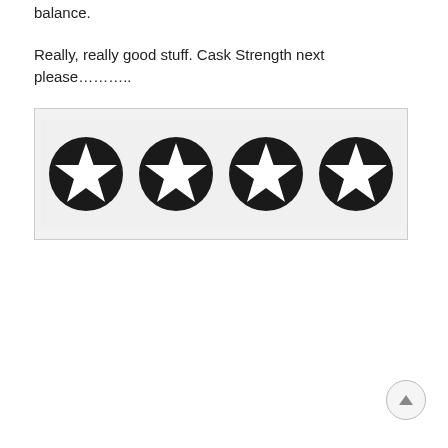balance.
Really, really good stuff. Cask Strength next please………..
[Figure (illustration): Four black circular star rating icons arranged in a row inside a light grey bordered box, each showing a white five-pointed star on a black circle background.]